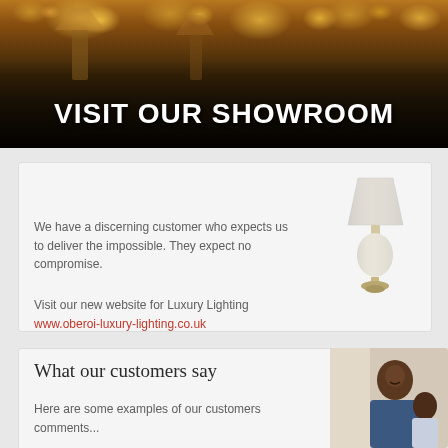[Figure (photo): Showroom storefront with many lamps and chandeliers displayed, warm amber lighting]
VISIT OUR SHOWROOM
Luxury Lighting
We have a discerning customer who expects us to deliver the impossible. They expect no compromise.
[Figure (photo): White table lamp with decorative base on a light background]
Visit our new website for Luxury Lighting
www.oberoi-luxury-lighting.co.uk
What our customers say
Here are some examples of our customers comments...
[Figure (photo): Man and child smiling, looking at something together]